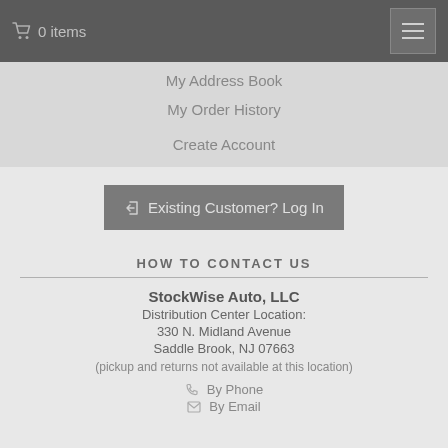0 items
My Address Book
My Order History
Create Account
Existing Customer? Log In
HOW TO CONTACT US
StockWise Auto, LLC
Distribution Center Location:
330 N. Midland Avenue
Saddle Brook, NJ 07663
(pickup and returns not available at this location)
By Phone
By Email